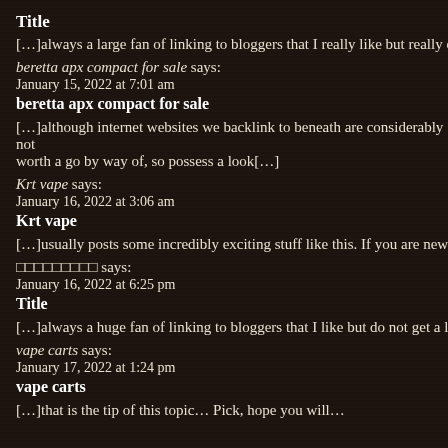Title
[…]always a large fan of linking to bloggers that I really like but really don't
beretta apx compact for sale says:
January 15, 2022 at 7:01 am
beretta apx compact for sale
[…]although internet websites we backlink to beneath are considerably not worth a go by way of, so possess a look[…]
Krt vape says:
January 16, 2022 at 3:06 am
Krt vape
[…]usually posts some incredibly exciting stuff like this. If you are new to
□□□□□□□□□ says:
January 16, 2022 at 6:25 pm
Title
[…]always a huge fan of linking to bloggers that I like but do not get a lot
vape carts says:
January 17, 2022 at 1:24 pm
vape carts
[…]that is the tip of this topic… Pick, hope you will…